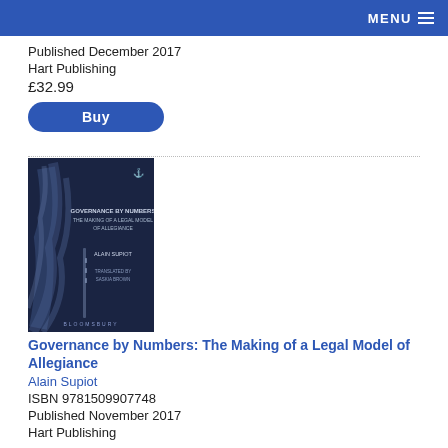MENU
Published December 2017
Hart Publishing
£32.99
Buy
[Figure (photo): Book cover of 'Governance by Numbers: The Making of a Legal Model of Allegiance' by Alain Supiot, dark blue cover with smoke/flame imagery]
Governance by Numbers: The Making of a Legal Model of Allegiance
Alain Supiot
ISBN 9781509907748
Published November 2017
Hart Publishing